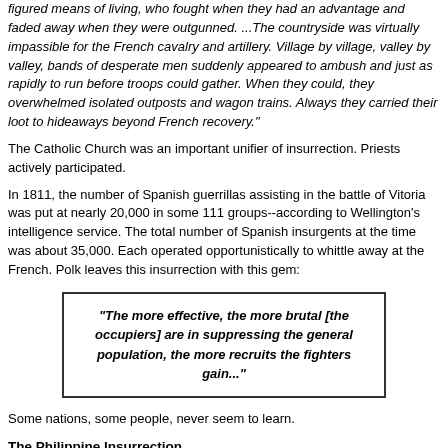figured means of living, who fought when they had an advantage and faded away when they were outgunned. ...The countryside was virtually impassible for the French cavalry and artillery. Village by village, valley by valley, bands of desperate men suddenly appeared to ambush and just as rapidly to run before troops could gather. When they could, they overwhelmed isolated outposts and wagon trains. Always they carried their loot to hideaways beyond French recovery."
The Catholic Church was an important unifier of insurrection. Priests actively participated.
In 1811, the number of Spanish guerrillas assisting in the battle of Vitoria was put at nearly 20,000 in some 111 groups--according to Wellington’s intelligence service. The total number of Spanish insurgents at the time was about 35,000. Each operated opportunistically to whittle away at the French. Polk leaves this insurrection with this gem:
[Figure (other): Blockquote with double border: "The more effective, the more brutal [the occupiers] are in suppressing the general population, the more recruits the fighters gain..."]
Some nations, some people, never seem to learn.
The Philippine Insurrection
As the 20th Century dawned, this insurrection became America’s first taste of guerrilla warfare. America was not the first invader. Spain occupied the Philippines and actu